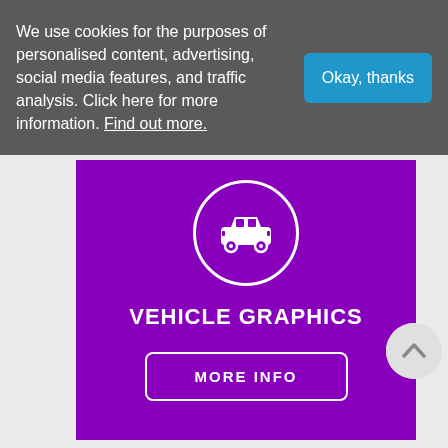We use cookies for the purposes of personalised content, advertising, social media features, and traffic analysis. Click here for more information. Find out more.
[Figure (illustration): Purple card with white circle car icon, 'VEHICLE GRAPHICS' heading, and 'MORE INFO' button]
[Figure (illustration): Circular scroll-up arrow button]